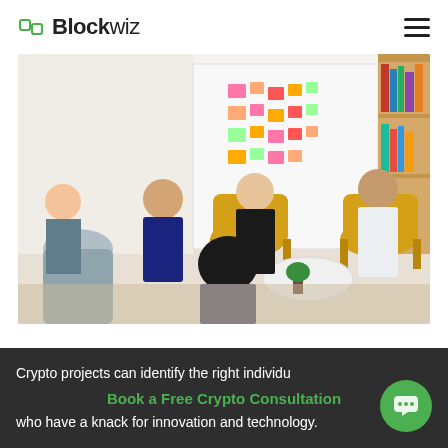Blockwiz
[Figure (photo): Five people having a meeting in a modern office with yellow chairs, sticky notes on a glass wall, and a bookshelf in the background.]
Crypto projects can identify the right individuals who have a knack for innovation and technology.
Book a Free Crypto Consultation